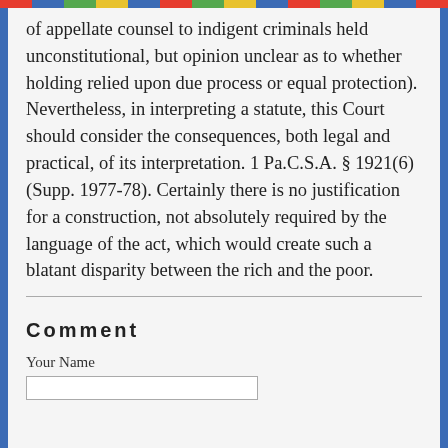of appellate counsel to indigent criminals held unconstitutional, but opinion unclear as to whether holding relied upon due process or equal protection). Nevertheless, in interpreting a statute, this Court should consider the consequences, both legal and practical, of its interpretation. 1 Pa.C.S.A. § 1921(6) (Supp. 1977-78). Certainly there is no justification for a construction, not absolutely required by the language of the act, which would create such a blatant disparity between the rich and the poor.
Comment
Your Name